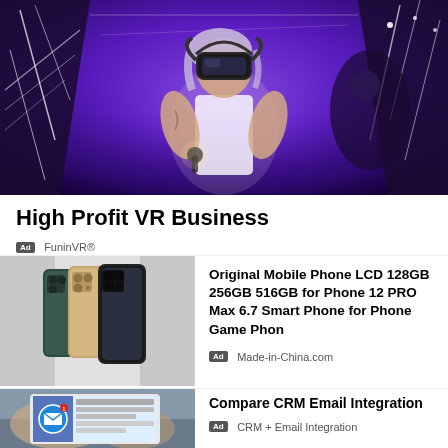[Figure (photo): Woman wearing VR headset in a neon-lit arcade/gaming environment with purple and blue lighting and glowing white lines]
High Profit VR Business
Ad  FuninVR®
[Figure (photo): Product listing image showing iPhone 12 Pro Max phones in multiple colors (silver, gold, dark green) with gray placeholder side panels]
Original Mobile Phone LCD 128GB 256GB 516GB for Phone 12 PRO Max 6.7 Smart Phone for Phone Game Phon
Ad  Made-in-China.com
[Figure (photo): Person holding a tablet displaying an email interface with a circular email icon]
Compare CRM Email Integration
Ad  CRM + Email Integration